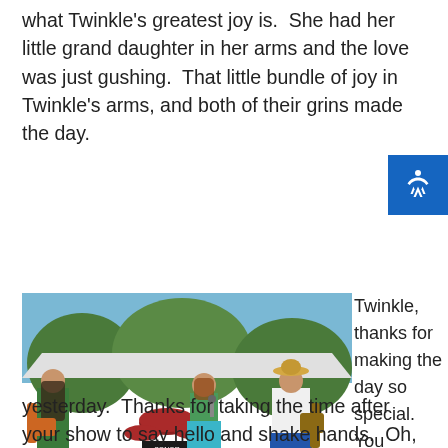what Twinkle's greatest joy is.  She had her little grand daughter in her arms and the love was just gushing.  That little bundle of joy in Twinkle's arms, and both of their grins made the day.
[Figure (photo): Outdoor concert photo showing a band performing on stage. A female singer in a teal skirt and green top stands center stage holding a microphone. A long-haired guitarist in a green shirt stands to the left playing an orange guitar. A guitarist in a white shirt and straw hat plays on the right. A drummer is visible in the background behind a Sonor drum kit. Marshall amplifiers are visible. Palm trees and blue sky in the background. Watermark reads 'SleySullyingPhotos'.]
Twinkle, thanks for making the day so special.  You shared your love with some wonderful folks yesterday.  Thanks for taking the time after your show to say hello and shake hands.  Oh, I am going to hold you to a promise that you made yesterday.  In a couple of weeks, we